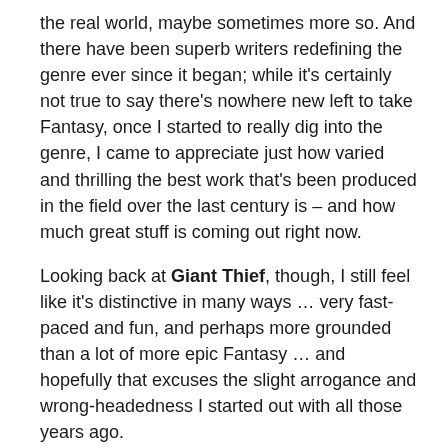the real world, maybe sometimes more so. And there have been superb writers redefining the genre ever since it began; while it's certainly not true to say there's nowhere new left to take Fantasy, once I started to really dig into the genre, I came to appreciate just how varied and thrilling the best work that's been produced in the field over the last century is – and how much great stuff is coming out right now.
Looking back at Giant Thief, though, I still feel like it's distinctive in many ways … very fast-paced and fun, and perhaps more grounded than a lot of more epic Fantasy … and hopefully that excuses the slight arrogance and wrong-headedness I started out with all those years ago.
PW: Now that you have broken into novels, what is the experience of that like as compared to comics and